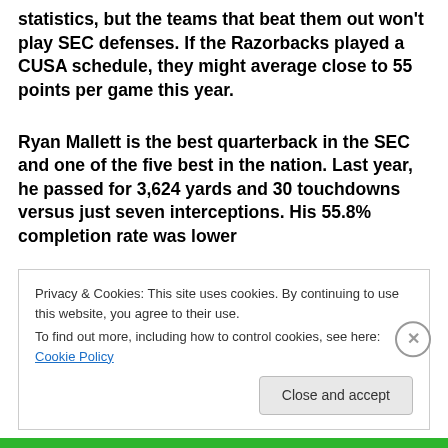statistics, but the teams that beat them out won't play SEC defenses.  If the Razorbacks played a CUSA schedule, they might average close to 55 points per game this year.
Ryan Mallett is the best quarterback in the SEC and one of the five best in the nation.  Last year, he passed for 3,624 yards and 30 touchdowns versus just seven interceptions.  His 55.8% completion rate was lower
Privacy & Cookies: This site uses cookies. By continuing to use this website, you agree to their use.
To find out more, including how to control cookies, see here: Cookie Policy